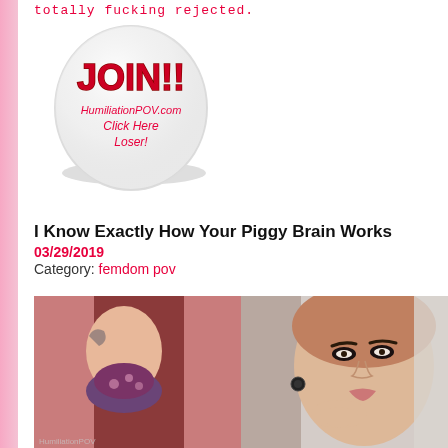totally fucking rejected.
[Figure (illustration): A round badge/button with JOIN!! text in red bubble letters and HumiliationPOV.com Click Here Loser! text below on a white oval background]
I Know Exactly How Your Piggy Brain Works
03/29/2019
Category: femdom pov
[Figure (photo): Split image: left side shows a woman from behind in floral underwear with tattoos; right side shows a close-up of a woman's face with dark eye makeup, hand under chin, wearing dark earrings]